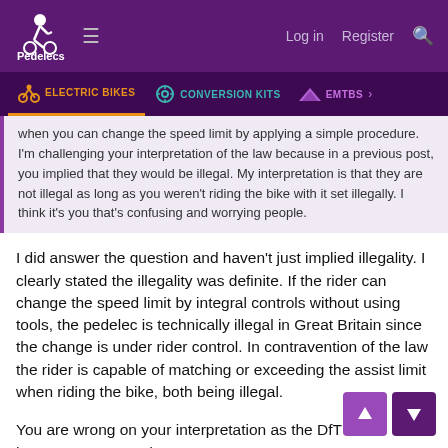Pedelecs — Log in  Register
ELECTRIC BIKES  CONVERSION KITS  EMTBS
when you can change the speed limit by applying a simple procedure. I'm challenging your interpretation of the law because in a previous post, you implied that they would be illegal. My interpretation is that they are not illegal as long as you weren't riding the bike with it set illegally. I think it's you that's confusing and worrying people.
I did answer the question and haven't just implied illegality. I clearly stated the illegality was definite. If the rider can change the speed limit by integral controls without using tools, the pedelec is technically illegal in Great Britain since the change is under rider control. In contravention of the law the rider is capable of matching or exceeding the assist limit when riding the bike, both being illegal.
You are wrong on your interpretation as the DfT has made it absolutely clear.